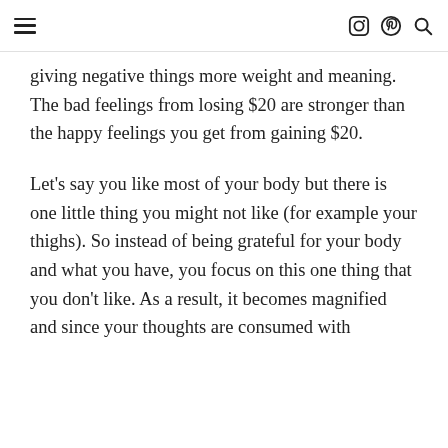☰  [instagram] [pinterest] [search]
giving negative things more weight and meaning. The bad feelings from losing $20 are stronger than the happy feelings you get from gaining $20.
Let's say you like most of your body but there is one little thing you might not like (for example your thighs). So instead of being grateful for your body and what you have, you focus on this one thing that you don't like. As a result, it becomes magnified and since your thoughts are consumed with